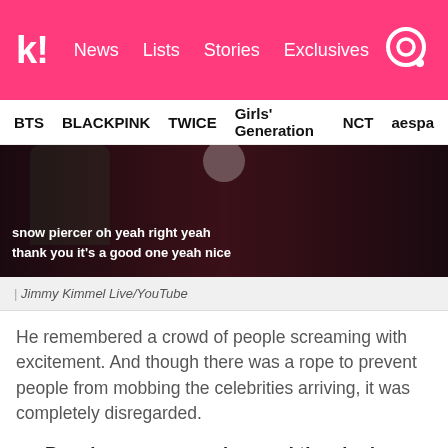k! News  Lists  Stories  Exclusives
BTS  BLACKPINK  TWICE  Girls' Generation  NCT  aespa
[Figure (screenshot): Video screenshot showing a dark indoor scene with subtitle text: 'snow piercer oh yeah right yeah thank you it's a good one yeah nice']
| Jimmy Kimmel Live/YouTube
He remembered a crowd of people screaming with excitement. And though there was a rope to prevent people from mobbing the celebrities arriving, it was completely disregarded.
People were screaming, and they had one little rope to stop people and that rope just got bulldozed… Very quickly